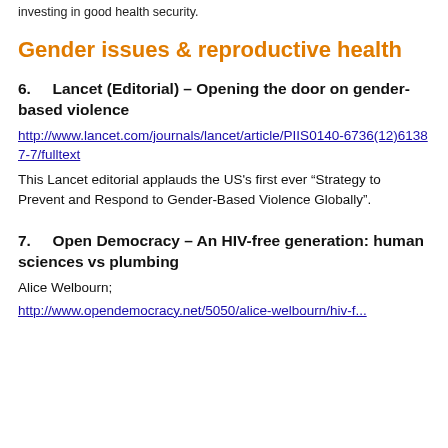investing in good health security.
Gender issues & reproductive health
6.    Lancet (Editorial) – Opening the door on gender-based violence
http://www.lancet.com/journals/lancet/article/PIIS0140-6736(12)61387-7/fulltext
This Lancet editorial applauds the US's first ever “Strategy to Prevent and Respond to Gender-Based Violence Globally”.
7.    Open Democracy – An HIV-free generation: human sciences vs plumbing
Alice Welbourn;
http://www.opendemocracy.net/5050/alice-welbourn/hiv-f...